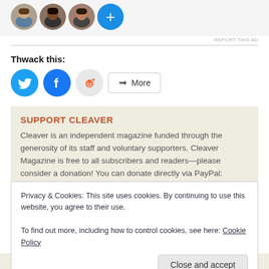[Figure (illustration): Avatar row showing three circular profile photos and a blue plus button, on a light grey background, with 'REPORT THIS AD' small text at bottom right]
Thwack this:
[Figure (infographic): Social share buttons: Twitter (blue circle with bird icon), Facebook (blue circle with f icon), Reddit (light grey circle with alien icon), and a More button with share icon]
SUPPORT CLEAVER
Cleaver is an independent magazine funded through the generosity of its staff and voluntary supporters. Cleaver Magazine is free to all subscribers and readers—please consider a donation! You can donate directly via PayPal:
Privacy & Cookies: This site uses cookies. By continuing to use this website, you agree to their use.
To find out more, including how to control cookies, see here: Cookie Policy